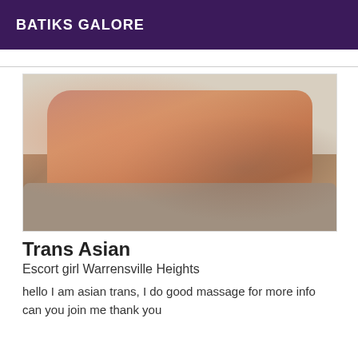BATIKS GALORE
[Figure (photo): Woman in red lingerie lying on a grey sofa]
Trans Asian
Escort girl Warrensville Heights
hello I am asian trans, I do good massage for more info can you join me thank you